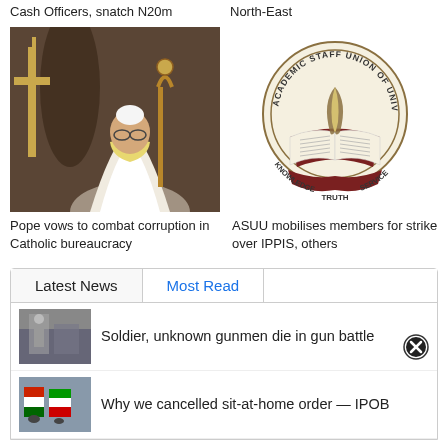Cash Officers, snatch N20m
North-East
[Figure (photo): Pope Francis holding a ceremonial staff, wearing white papal vestments, with a golden cross visible in the background]
[Figure (logo): ASUU (Academic Staff Union of Universities) circular logo with an open book and quill pen, text reading KNOWLEDGE, TRUTH, SERVICE around the bottom]
Pope vows to combat corruption in Catholic bureaucracy
ASUU mobilises members for strike over IPPIS, others
Latest News
Most Read
[Figure (photo): Small thumbnail of soldiers or military scene]
Soldier, unknown gunmen die in gun battle
[Figure (photo): Small thumbnail of people with flags]
Why we cancelled sit-at-home order — IPOB